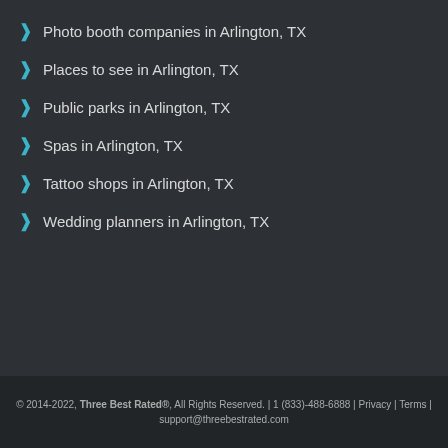Photo booth companies in Arlington, TX
Places to see in Arlington, TX
Public parks in Arlington, TX
Spas in Arlington, TX
Tattoo shops in Arlington, TX
Wedding planners in Arlington, TX
© 2014-2022, Three Best Rated®, All Rights Reserved. | 1 (833)-488-6888 | Privacy | Terms | support@threebestrated.com